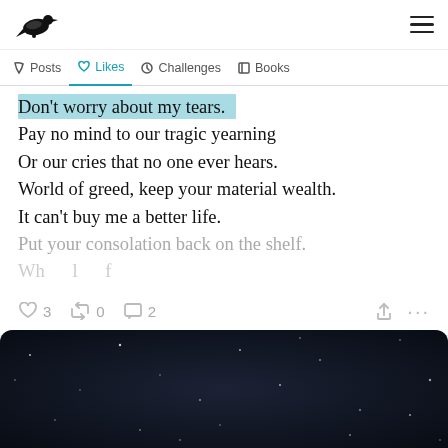Crow logo and hamburger menu
Posts  Likes  Challenges  Books
Don't worry about my tears.
Pay no mind to our tragic yearning
Or our cries that no one ever hears.
World of greed, keep your material wealth.
It can't buy me a better life.
Put your consolation back on the shelf.
Wh... l... f...
3  0  2
[Figure (photo): Dark night sky with scattered white stars on deep navy/black background]